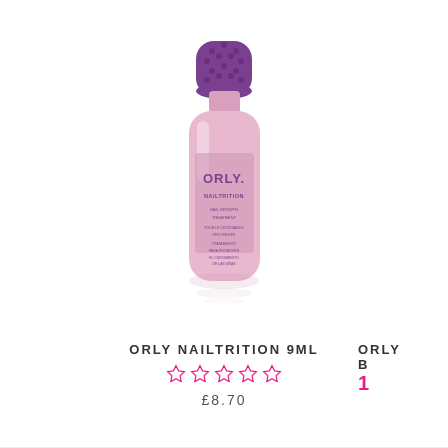[Figure (photo): ORLY Nailtrition 9ml nail polish bottle with purple cap and pink translucent body, label reads ORLY NAILTRITION NAIL GROWTH TREATMENT]
ORLY NAILTRITION 9ML
☆☆☆☆☆ (5 empty stars rating)
£8.70
ORLY
B
1